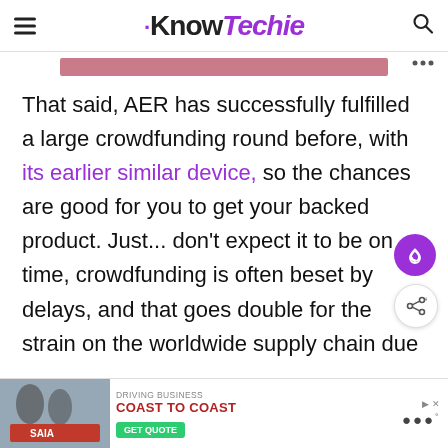KnowTechie
[Figure (other): Pink/rose colored banner image strip]
That said, AER has successfully fulfilled a large crowdfunding round before, with its earlier similar device, so the chances are good for you to get your backed product. Just... don't expect it to be on time, crowdfunding is often beset by delays, and that goes double for the strain on the worldwide supply chain due to...
[Figure (other): Advertisement banner: Saia trucking - Driving Business Coast to Coast with Get Quote button]